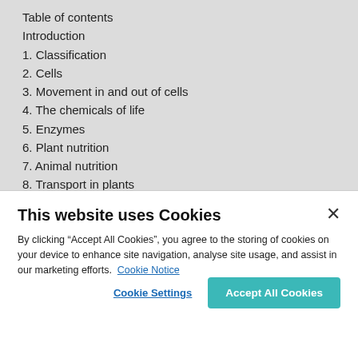Table of contents
Introduction
1. Classification
2. Cells
3. Movement in and out of cells
4. The chemicals of life
5. Enzymes
6. Plant nutrition
7. Animal nutrition
8. Transport in plants
9. Transport in animals
10. Pathogens and immunity
11. Respiration and gas exchange
12. Excretion
13. Coordination and response
14. Homeostasis
15. Drugs
This website uses Cookies
By clicking “Accept All Cookies”, you agree to the storing of cookies on your device to enhance site navigation, analyse site usage, and assist in our marketing efforts. Cookie Notice
Cookie Settings
Accept All Cookies